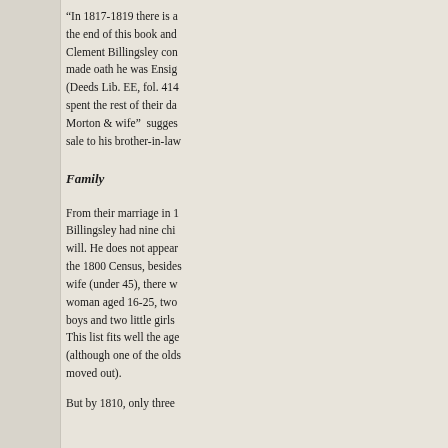“In 1817-1819 there is a the end of this book and Clement Billingsley con made oath he was Ensig (Deeds Lib. EE, fol. 414 spent the rest of their da Morton & wife”  sugges sale to his brother-in-law
Family
From their marriage in 1 Billingsley had nine chi will. He does not appear the 1800 Census, besides wife (under 45), there w woman aged 16-25, two boys and two little girls This list fits well the age (although one of the olde moved out).
But by 1810, only three